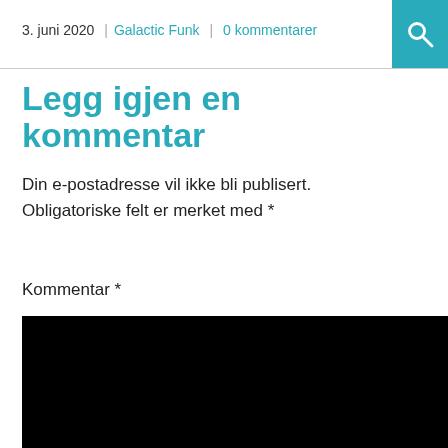3. juni 2020 | Galactic Funk | 0 kommentarer
Legg igjen en kommentar
Din e-postadresse vil ikke bli publisert. Obligatoriske felt er merket med *
Kommentar *
[Figure (other): Black text input area (textarea) for comment submission, shown as a solid black rectangle.]